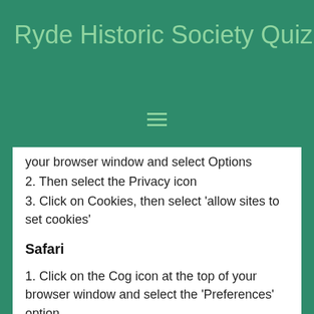Ryde Historic Society Quiz Nig
your browser window and select Options
2. Then select the Privacy icon
3. Click on Cookies, then select 'allow sites to set cookies'
Safari
1. Click on the Cog icon at the top of your browser window and select the 'Preferences' option
2. Click on 'Security', check the